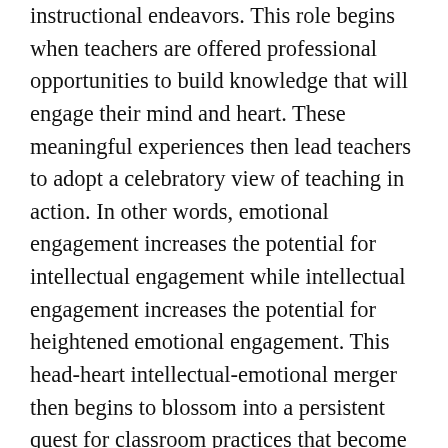instructional endeavors. This role begins when teachers are offered professional opportunities to build knowledge that will engage their mind and heart. These meaningful experiences then lead teachers to adopt a celebratory view of teaching in action. In other words, emotional engagement increases the potential for intellectual engagement while intellectual engagement increases the potential for heightened emotional engagement. This head-heart intellectual-emotional merger then begins to blossom into a persistent quest for classroom practices that become a springboard for student-centered mind and heart engagement. It seems to me that this again plays a dual role since teacher engagement can have a positive impact on student engagement and vice versa. This happens when we focus on meaningful, purposeful, productive and